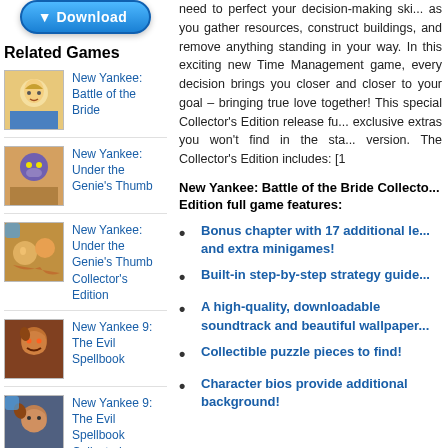[Figure (other): Download button (blue rounded button with downward arrow)]
Related Games
[Figure (other): Game thumbnail for New Yankee: Battle of the Bride]
New Yankee: Battle of the Bride
[Figure (other): Game thumbnail for New Yankee: Under the Genie's Thumb]
New Yankee: Under the Genie's Thumb
[Figure (other): Game thumbnail for New Yankee: Under the Genie's Thumb Collector's Edition]
New Yankee: Under the Genie's Thumb Collector's Edition
[Figure (other): Game thumbnail for New Yankee 9: The Evil Spellbook]
New Yankee 9: The Evil Spellbook
[Figure (other): Game thumbnail for New Yankee 9: The Evil Spellbook Collector's Edition]
New Yankee 9: The Evil Spellbook Collector's Edition
[Figure (other): Game thumbnail for New Yankee 8: Journey of Odysseus]
New Yankee 8: Journey of Odysseus
[Figure (other): Game thumbnail for New Yankee 8: Journey of Odysseus Collector's Edition]
New Yankee 8: Journey of Odysseus Collector's Edition
[Figure (other): Game thumbnail for New Yankee 7: Deer Hunters]
New Yankee 7: Deer Hunters
need to perfect your decision-making skills as you gather resources, construct buildings, and remove anything standing in your way. In this exciting new Time Management game, every decision brings you closer and closer to your goal – bringing true love together! This special Collector's Edition release features exclusive extras you won't find in the standard version. The Collector's Edition includes: [1
New Yankee: Battle of the Bride Collector's Edition full game features:
Bonus chapter with 17 additional levels and extra minigames!
Built-in step-by-step strategy guide
A high-quality, downloadable soundtrack and beautiful wallpapers
Collectible puzzle pieces to find!
Character bios provide additional background!